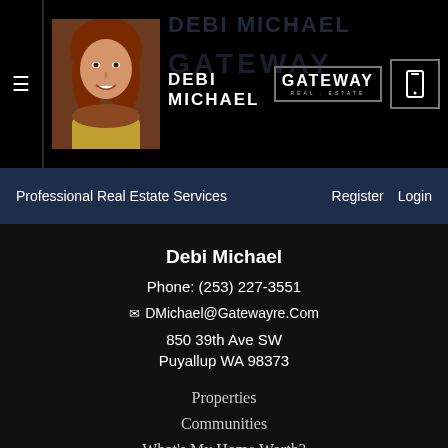DEBI MICHAEL | GATEWAY REAL ESTATE | Professional Real Estate Services | Register | Login
Debi Michael
Phone: (253) 227-3551
DMichael@Gatewayre.Com
850 39th Ave SW
Puyallup WA 98373
Properties
Communities
What's My Home Worth?
Debi Michael Propert